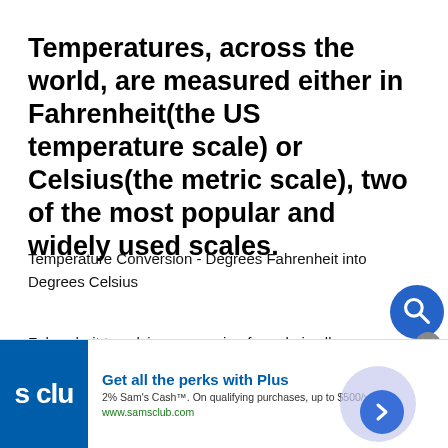Temperatures, across the world, are measured either in Fahrenheit(the US temperature scale) or Celsius(the metric scale), two of the most popular and widely used scales.
Temperature Conversion - Degrees Fahrenheit into Degrees Celsius
Fahrenheit to celsius conversion formula is all about converting the temperature denoting in Fahrenheit
[Figure (other): Advertisement banner for Sam's Club: 'Get all the perks with Plus. 2% Sam's Cash™. On qualifying purchases, up to $500/year. www.samsclub.com' with Sam's Club logo and a blue arrow button.]